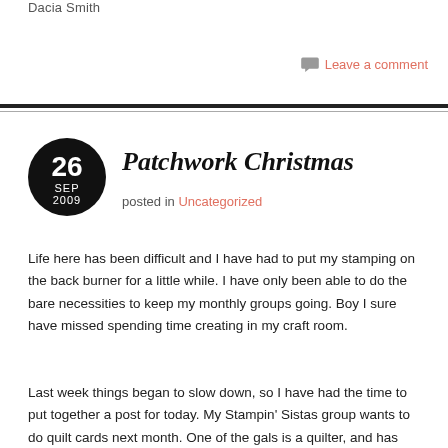Dacia Smith
Leave a comment
Patchwork Christmas
posted in Uncategorized
Life here has been difficult and I have had to put my stamping on the back burner for a little while. I have only been able to do the bare necessities to keep my monthly groups going. Boy I sure have missed spending time creating in my craft room.
Last week things began to slow down, so I have had the time to put together a post for today. My Stampin' Sistas group wants to do quilt cards next month. One of the gals is a quilter, and has created